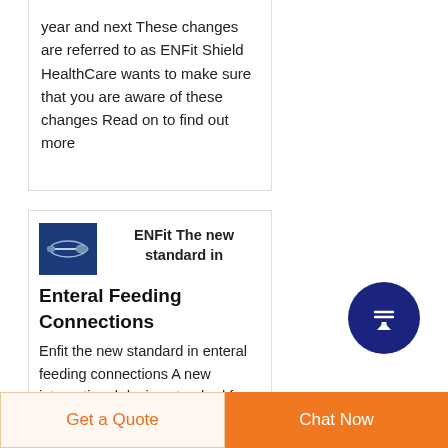year and next These changes are referred to as ENFit Shield HealthCare wants to make sure that you are aware of these changes Read on to find out more
[Figure (photo): Small thumbnail image of an ENFit medical connector/tube device on a blue background]
ENFit The new standard in Enteral Feeding Connections
Enfit the new standard in enteral feeding connections A new international design standard for medical device
Get a Quote
Chat Now